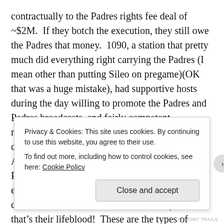contractually to the Padres rights fee deal of ~$2M.  If they botch the execution, they still owe the Padres that money.  1090, a station that pretty much did everything right carrying the Padres (I mean other than putting Sileo on pregame)(OK that was a huge mistake), had supportive hosts during the day willing to promote the Padres and Padres broadcasts, and fairly competent management and sales, still lost money on carrying the Padres and the rights fees were less!  And here's 94.9 paying more for it, with a worse Padres product, and they're totally screwing up every aspect of the strategy and execution.  They can't even call back advertisers correctly and that's their lifeblood!  These are the types of errors that will bankrupt a station when a $2M rights fee substantially narrows the profit margins and the margins for error.
Privacy & Cookies: This site uses cookies. By continuing to use this website, you agree to their use.
To find out more, including how to control cookies, see here: Cookie Policy